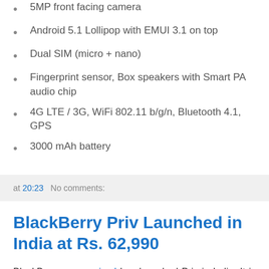5MP front facing camera
Android 5.1 Lollipop with EMUI 3.1 on top
Dual SIM (micro + nano)
Fingerprint sensor, Box speakers with Smart PA audio chip
4G LTE / 3G, WiFi 802.11 b/g/n, Bluetooth 4.1, GPS
3000 mAh battery
at 20:23   No comments:
BlackBerry Priv Launched in India at Rs. 62,990
BlackBerry as promised has launched Priv in India. It is available in Black Color and is priced at Rs. 62,990. The